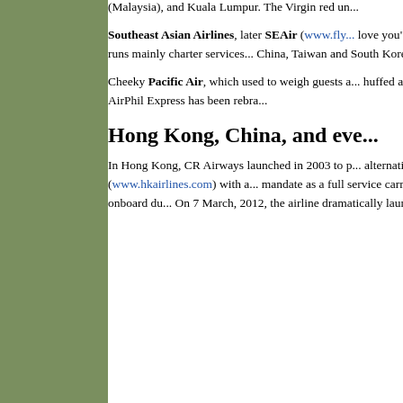(Malaysia), and Kuala Lumpur. The Virgin red un...
Southeast Asian Airlines, later SEAir (www.fly...) - love you" - had its Air Operator's Certificate susp... shortly after and now runs mainly charter services... China, Taiwan and South Korea.
Cheeky Pacific Air, which used to weigh guests a... huffed across the Pacific from Manila to Boracay,... boots. Meanwhile AirPhil Express has been rebra...
Hong Kong, China, and eve...
In Hong Kong, CR Airways launched in 2003 to p... alternative for small city getaways. It soon mushr... Hongkong Airlines (www.hkairlines.com) with a... mandate as a full service carrier with inflight ente... flyer programme, airport lounges and onboard du... On 7 March, 2012, the airline dramatically launc... service Hong Kong to London's Gatwick but the s...